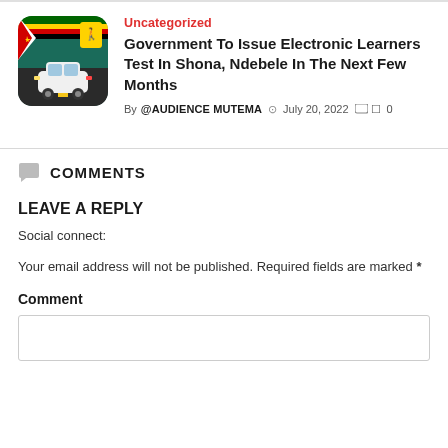[Figure (illustration): Thumbnail image showing a car on a road with Zimbabwe flag and pedestrian crossing sign, rounded corners, teal/dark background]
Uncategorized
Government To Issue Electronic Learners Test In Shona, Ndebele In The Next Few Months
By @AUDIENCE MUTEMA  July 20, 2022  0
COMMENTS
LEAVE A REPLY
Social connect:
Your email address will not be published. Required fields are marked *
Comment